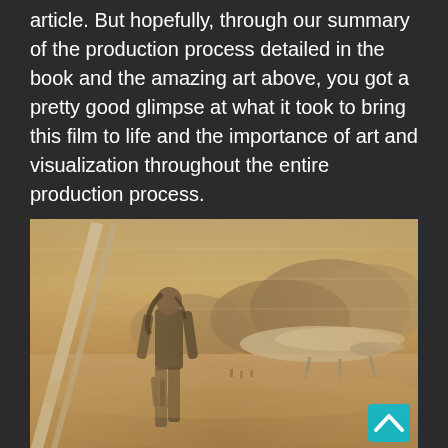article. But hopefully, through our summary of the production process detailed in the book and the amazing art above, you got a pretty good glimpse at what it took to bring this film to life and the importance of art and visualization throughout the entire production process.
[Figure (photo): A figure of a person with long hair standing on a sandy desert landscape, looking toward a large spacecraft or ship in the background. Rocky mountains visible in the distance. The scene is hazy and warm-toned, suggesting a Star Wars concept art or film still.]
I highly recommend that all Star Wars fans